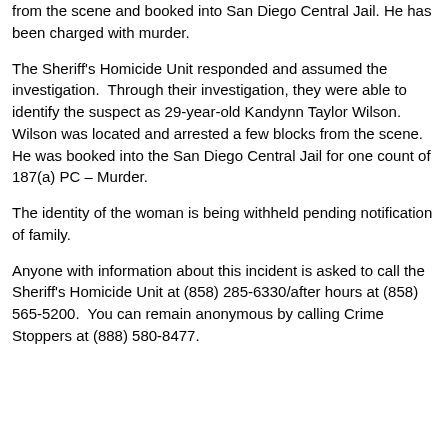from the scene and booked into San Diego Central Jail. He has been charged with murder.
The Sheriff's Homicide Unit responded and assumed the investigation.  Through their investigation, they were able to identify the suspect as 29-year-old Kandynn Taylor Wilson.  Wilson was located and arrested a few blocks from the scene.  He was booked into the San Diego Central Jail for one count of 187(a) PC – Murder.
The identity of the woman is being withheld pending notification of family.
Anyone with information about this incident is asked to call the Sheriff's Homicide Unit at (858) 285-6330/after hours at (858) 565-5200.  You can remain anonymous by calling Crime Stoppers at (888) 580-8477.